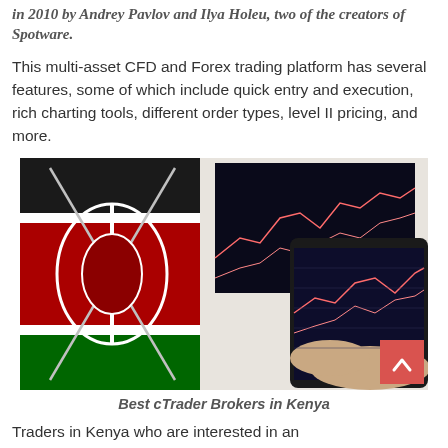in 2010 by Andrey Pavlov and Ilya Holeu, two of the creators of Spotware.
This multi-asset CFD and Forex trading platform has several features, some of which include quick entry and execution, rich charting tools, different order types, level II pricing, and more.
[Figure (photo): Photo showing a person holding a tablet displaying trading charts, with a laptop in the background showing candlestick charts. The Kenyan flag is overlaid on the left side of the image.]
Best cTrader Brokers in Kenya
Traders in Kenya who are interested in an